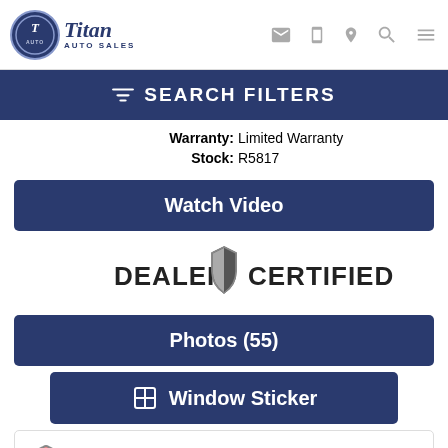[Figure (logo): Titan Auto Sales logo with circular emblem and italic text]
Warranty: Limited Warranty
Stock: R5817
Watch Video
[Figure (logo): Dealer Certified badge with shield icon]
Photos (55)
Window Sticker
All with no impact to your credit score
Estimate financing